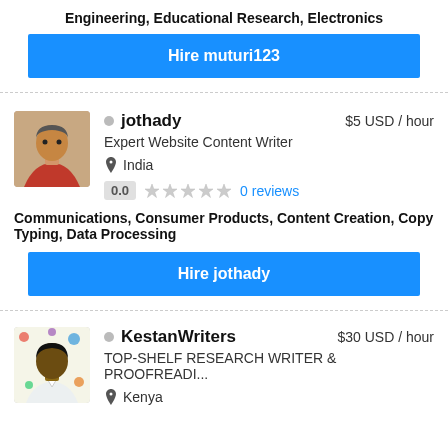Engineering, Educational Research, Electronics
Hire muturi123
jothady  $5 USD / hour
Expert Website Content Writer
India
0.0   0 reviews
Communications, Consumer Products, Content Creation, Copy Typing, Data Processing
Hire jothady
KestanWriters  $30 USD / hour
TOP-SHELF RESEARCH WRITER & PROOFREADI...
Kenya